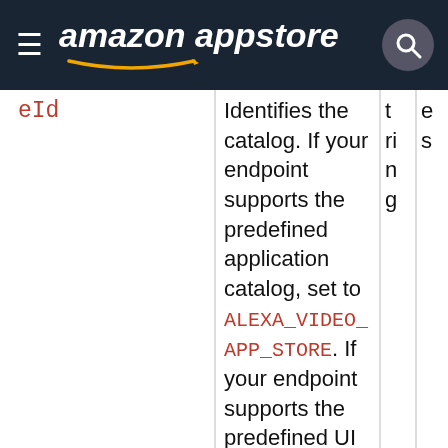amazon appstore
| Field | Description | Type | Required |
| --- | --- | --- | --- |
| eId | Identifies the catalog. If your endpoint supports the predefined application catalog, set to ALEXA_VIDEO_APP_STORE. If your endpoint supports the predefined UI shortcut catalog, set to ALEXA_VIDEO_SHORTCUT_STORE. For the application and short targets | String | e s |